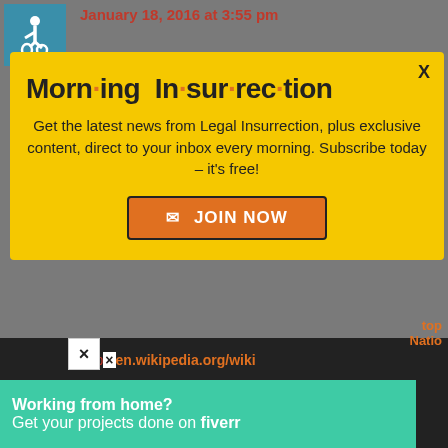[Figure (screenshot): Accessibility icon (wheelchair symbol) in teal/blue square]
January 18, 2016 at 3:55 pm
Can a citizen of a country on the UN Security Council be Sec General?
[Figure (screenshot): Yellow popup modal - Morning Insurrection newsletter signup with JOIN NOW button]
Morn·ing In·sur·rec·tion
Get the latest news from Legal Insurrection, plus exclusive content, direct to your inbox every morning. Subscribe today – it's free!
JOIN NOW
http×en.wikipedia.org/wiki
Working from home?
Get your projects done on fiverr